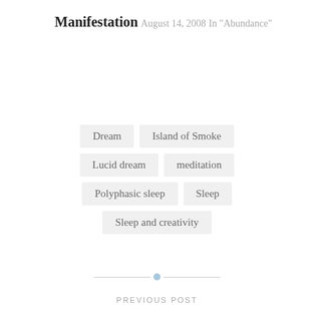Manifestation
August 14, 2008
In "Abundance"
Dream
Island of Smoke
Lucid dream
meditation
Polyphasic sleep
Sleep
Sleep and creativity
PREVIOUS POST